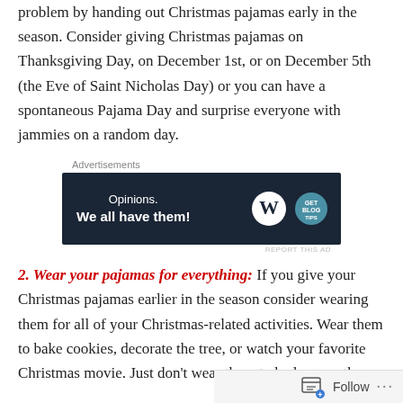problem by handing out Christmas pajamas early in the season. Consider giving Christmas pajamas on Thanksgiving Day, on December 1st, or on December 5th (the Eve of Saint Nicholas Day) or you can have a spontaneous Pajama Day and surprise everyone with jammies on a random day.
[Figure (other): WordPress advertisement banner with text 'Opinions. We all have them!' and WordPress and blog logos on dark navy background.]
2. Wear your pajamas for everything: If you give your Christmas pajamas earlier in the season consider wearing them for all of your Christmas-related activities. Wear them to bake cookies, decorate the tree, or watch your favorite Christmas movie. Just don't wear them to bed…save them